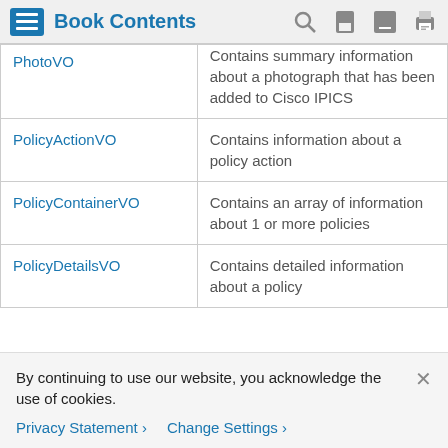Book Contents
| Value Object | Description |
| --- | --- |
| PhotoVO | Contains summary information about a photograph that has been added to Cisco IPICS |
| PolicyActionVO | Contains information about a policy action |
| PolicyContainerVO | Contains an array of information about 1 or more policies |
| PolicyDetailsVO | Contains detailed information about a policy |
By continuing to use our website, you acknowledge the use of cookies.
Privacy Statement > Change Settings >